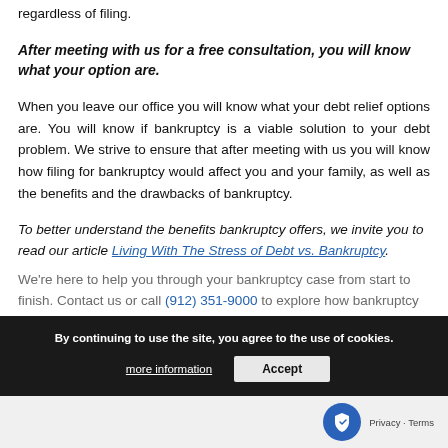regardless of filing.
After meeting with us for a free consultation, you will know what your option are.
When you leave our office you will know what your debt relief options are. You will know if bankruptcy is a viable solution to your debt problem. We strive to ensure that after meeting with us you will know how filing for bankruptcy would affect you and your family, as well as the benefits and the drawbacks of bankruptcy.
To better understand the benefits bankruptcy offers, we invite you to read our article Living With The Stress of Debt vs. Bankruptcy.
We're here to help you through your bankruptcy case from start to finish. Contact us or call (912) 351-9000 to explore how bankruptcy can help you.